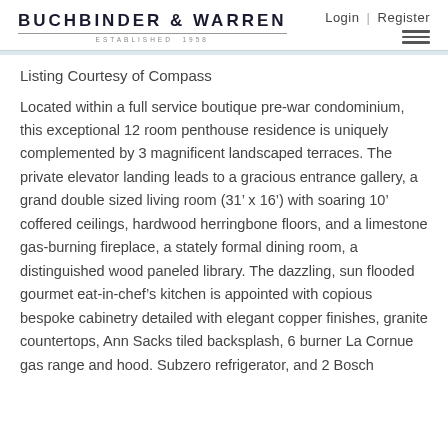BUCHBINDER & WARREN  ESTABLISHED 1958  Login | Register
Listing Courtesy of Compass
Located within a full service boutique pre-war condominium, this exceptional 12 room penthouse residence is uniquely complemented by 3 magnificent landscaped terraces. The private elevator landing leads to a gracious entrance gallery, a grand double sized living room (31’ x 16’) with soaring 10’ coffered ceilings, hardwood herringbone floors, and a limestone gas-burning fireplace, a stately formal dining room, a distinguished wood paneled library. The dazzling, sun flooded gourmet eat-in-chef’s kitchen is appointed with copious bespoke cabinetry detailed with elegant copper finishes, granite countertops, Ann Sacks tiled backsplash, 6 burner La Cornue gas range and hood. Subzero refrigerator, and 2 Bosch